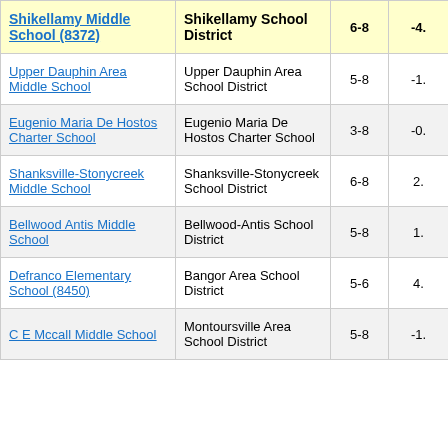| School | District | Grades | Score |
| --- | --- | --- | --- |
| Shikellamy Middle School (8372) | Shikellamy School District | 6-8 | -4. |
| Upper Dauphin Area Middle School | Upper Dauphin Area School District | 5-8 | -1. |
| Eugenio Maria De Hostos Charter School | Eugenio Maria De Hostos Charter School | 3-8 | -0. |
| Shanksville-Stonycreek Middle School | Shanksville-Stonycreek School District | 6-8 | 2. |
| Bellwood Antis Middle School | Bellwood-Antis School District | 5-8 | 1. |
| Defranco Elementary School (8450) | Bangor Area School District | 5-6 | 4. |
| C E Mccall Middle School | Montoursville Area School District | 5-8 | -1. |